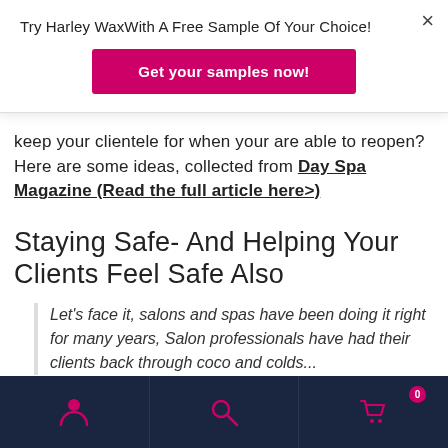×
Try Harley WaxWith A Free Sample Of Your Choice!
Get your samples now!
keep your clientele for when your are able to reopen? Here are some ideas, collected from Day Spa Magazine (Read the full article here>)
Staying Safe- And Helping Your Clients Feel Safe Also
Let's face it, salons and spas have been doing it right for many years, Salon professionals have had their clients back through coco and colds...